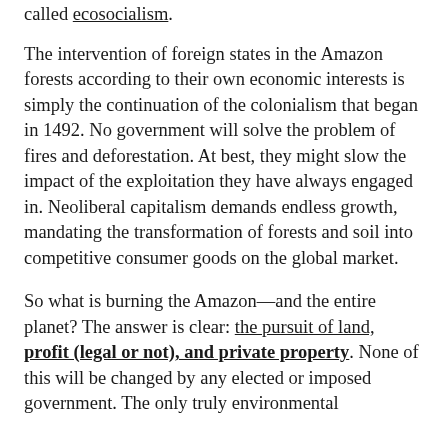called ecosocialism.
The intervention of foreign states in the Amazon forests according to their own economic interests is simply the continuation of the colonialism that began in 1492. No government will solve the problem of fires and deforestation. At best, they might slow the impact of the exploitation they have always engaged in. Neoliberal capitalism demands endless growth, mandating the transformation of forests and soil into competitive consumer goods on the global market.
So what is burning the Amazon—and the entire planet? The answer is clear: the pursuit of land, profit (legal or not), and private property. None of this will be changed by any elected or imposed government. The only truly environmental